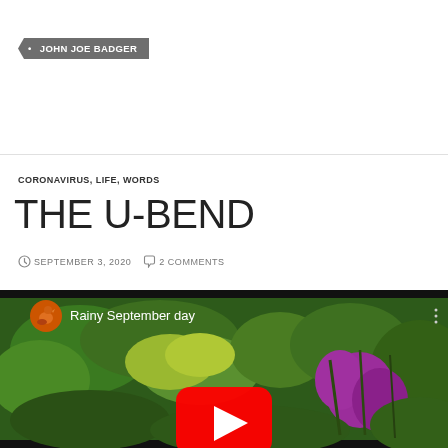JOHN JOE BADGER
CORONAVIRUS, LIFE, WORDS
THE U-BEND
SEPTEMBER 3, 2020   2 COMMENTS
[Figure (screenshot): YouTube video embed showing a garden scene with green plants and purple flowers, titled 'Rainy September day', with a red YouTube play button in the center.]